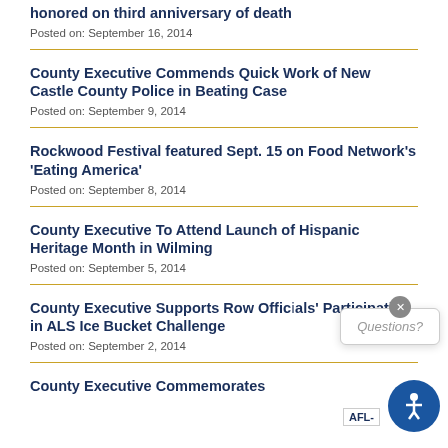honored on third anniversary of death
Posted on: September 16, 2014
County Executive Commends Quick Work of New Castle County Police in Beating Case
Posted on: September 9, 2014
Rockwood Festival featured Sept. 15 on Food Network's 'Eating America'
Posted on: September 8, 2014
County Executive To Attend Launch of Hispanic Heritage Month in Wilming
Posted on: September 5, 2014
County Executive Supports Row Offic Participation in ALS Ice Bucket Challenge
Posted on: September 2, 2014
County Executive Commemorates